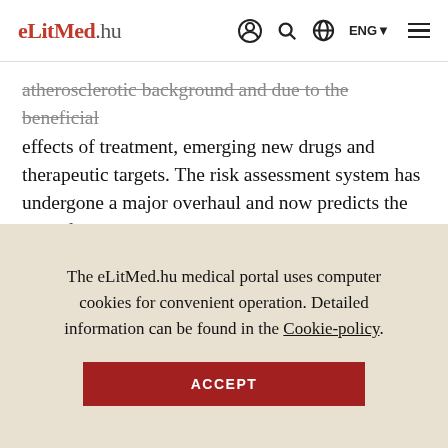eLitMed.hu
atherosclerotic background and due to the beneficial effects of treatment, emerging new drugs and therapeutic targets. The risk assessment system has undergone a major overhaul and now predicts the risk of fatal and non-fatal cardiovascular events together over a 10-year horizon and over a lifetime. In the new guideline, age plays a more important role in risk classification than before. The risk assessment and staged management of apparently healthy people or patients with established
The eLitMed.hu medical portal uses computer cookies for convenient operation. Detailed information can be found in the Cookie-policy.
ACCEPT